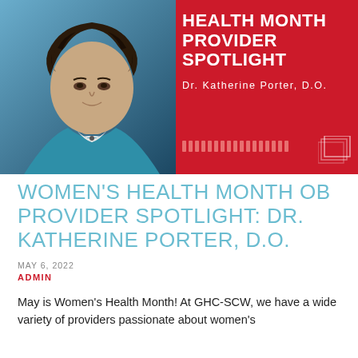[Figure (photo): Banner image showing Dr. Katherine Porter, D.O. on the left side with a professional headshot against a teal background, and red panel on the right with text 'Women's Health Month Provider Spotlight' and 'Dr. Katherine Porter, D.O.']
WOMEN'S HEALTH MONTH OB PROVIDER SPOTLIGHT: DR. KATHERINE PORTER, D.O.
MAY 6, 2022
ADMIN
May is Women's Health Month! At GHC-SCW, we have a wide variety of providers passionate about women's